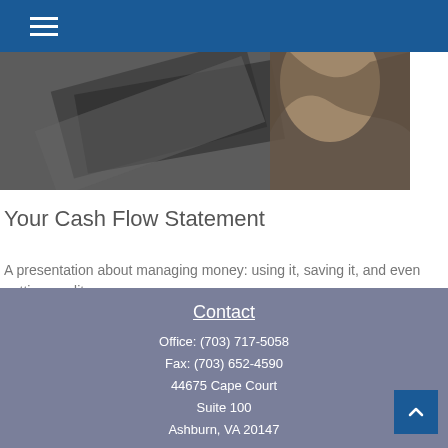[Figure (photo): Person handling papers/documents on a table, dark/moody tone]
Your Cash Flow Statement
A presentation about managing money: using it, saving it, and even getting credit.
Contact
Office: (703) 717-5058
Fax: (703) 652-4590
44675 Cape Court
Suite 100
Ashburn, VA 20147